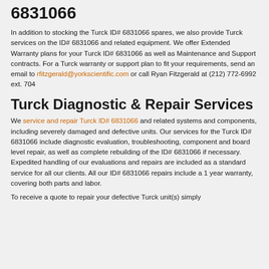6831066
In addition to stocking the Turck ID# 6831066 spares, we also provide Turck services on the ID# 6831066 and related equipment. We offer Extended Warranty plans for your Turck ID# 6831066 as well as Maintenance and Support contracts. For a Turck warranty or support plan to fit your requirements, send an email to rfitzgerald@yorkscientific.com or call Ryan Fitzgerald at (212) 772-6992 ext. 704
Turck Diagnostic & Repair Services
We service and repair Turck ID# 6831066 and related systems and components, including severely damaged and defective units. Our services for the Turck ID# 6831066 include diagnostic evaluation, troubleshooting, component and board level repair, as well as complete rebuilding of the ID# 6831066 if necessary. Expedited handling of our evaluations and repairs are included as a standard service for all our clients. All our ID# 6831066 repairs include a 1 year warranty, covering both parts and labor.
To receive a quote to repair your defective Turck unit(s) simply